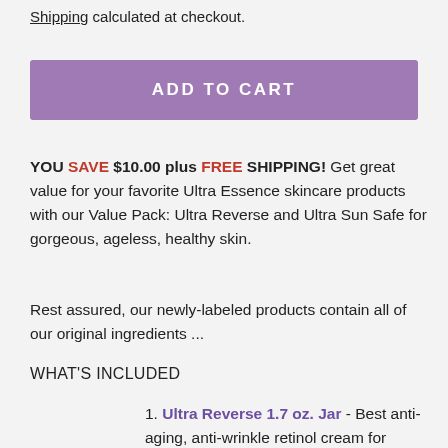Shipping calculated at checkout.
ADD TO CART
YOU SAVE $10.00 plus FREE SHIPPING! Get great value for your favorite Ultra Essence skincare products with our Value Pack: Ultra Reverse and Ultra Sun Safe for gorgeous, ageless, healthy skin.
Rest assured, our newly-labeled products contain all of our original ingredients ...
WHAT'S INCLUDED
1. Ultra Reverse 1.7 oz. Jar - Best anti-aging, anti-wrinkle retinol cream for